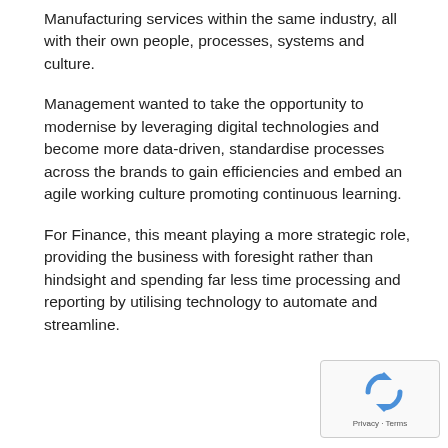Manufacturing services within the same industry, all with their own people, processes, systems and culture.
Management wanted to take the opportunity to modernise by leveraging digital technologies and become more data-driven, standardise processes across the brands to gain efficiencies and embed an agile working culture promoting continuous learning.
For Finance, this meant playing a more strategic role, providing the business with foresight rather than hindsight and spending far less time processing and reporting by utilising technology to automate and streamline.
[Figure (other): reCAPTCHA widget with circular arrow logo and Privacy - Terms text]